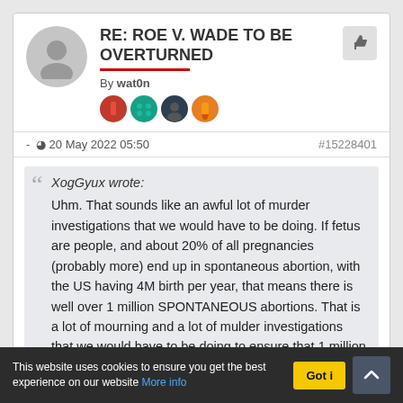RE: ROE V. WADE TO BE OVERTURNED
By wat0n
- 20 May 2022 05:50
#15228401
XogGyux wrote: Uhm. That sounds like an awful lot of murder investigations that we would have to be doing. If fetus are people, and about 20% of all pregnancies (probably more) end up in spontaneous abortion, with the US having 4M birth per year, that means there is well over 1 million SPONTANEOUS abortions. That is a lot of mourning and a lot of mulder investigations that we would have to be doing to ensure that 1 million people did not meet their untimely demise due to some sort of negligent indiscretion by the mother right? You took the
This website uses cookies to ensure you get the best experience on our website More info